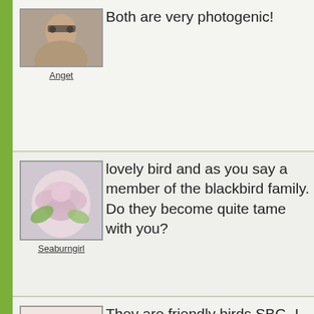[Figure (photo): Avatar photo of user Anget - person with sunglasses]
Anget
Both are very photogenic!
[Figure (photo): Avatar photo of user Seaburngirl - pink rose flower]
Seaburngirl
lovely bird and as you say a member of the blackbird family. Do they become quite tame with you?
[Figure (photo): Avatar photo of user Klahanie - red apple]
Klahanie_
They are friendly birds SBG. I love to see them around even if they eat all my small fruit in season.
[Figure (photo): Avatar photo of fourth user - person]
Lovely capture, Klahanie...I can see the